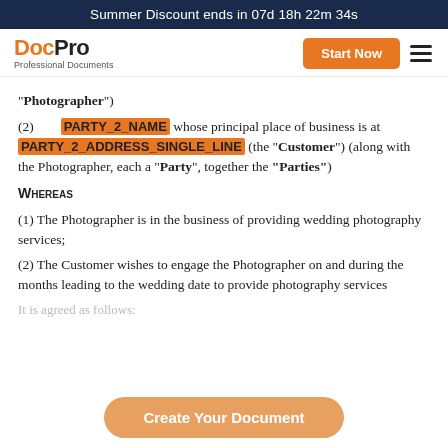Summer Discount ends in 07d 18h 22m 34s
[Figure (logo): DocPro logo with tagline 'Professional Documents', orange Start Now button, and hamburger menu icon]
"Photographer")
(2)  PARTY_2_NAME whose principal place of business is at PARTY_2_ADDRESS_SINGLE_LINE (the "Customer") (along with the Photographer, each a "Party", together the "Parties")
Whereas
(1) The Photographer is in the business of providing wedding photography services;
(2) The Customer wishes to engage the Photographer on and during the months leading to the wedding date to provide photography services
It is agreed as follows:
Create Your Document